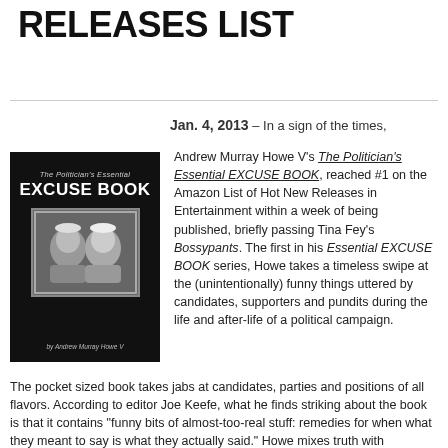RELEASES LIST
Jan. 4, 2013 – In a sign of the times,
[Figure (photo): Black book cover showing 'The Politician's Essential EXCUSE BOOK' by Andrew Murray Howe V, with a black-and-white photo of two crying babies]
Andrew Murray Howe V's The Politician's Essential EXCUSE BOOK, reached #1 on the Amazon List of Hot New Releases in Entertainment within a week of being published, briefly passing Tina Fey's Bossypants. The first in his Essential EXCUSE BOOK series, Howe takes a timeless swipe at the (unintentionally) funny things uttered by candidates, supporters and pundits during the life and after-life of a political campaign.
The pocket sized book takes jabs at candidates, parties and positions of all flavors. According to editor Joe Keefe, what he finds striking about the book is that it contains "funny bits of almost-too-real stuff: remedies for when what they meant to say is what they actually said." Howe mixes truth with